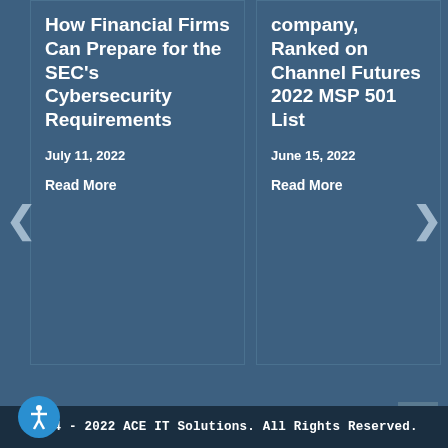How Financial Firms Can Prepare for the SEC's Cybersecurity Requirements
July 11, 2022
Read More
company, Ranked on Channel Futures 2022 MSP 501 List
June 15, 2022
Read More
2014 - 2022 ACE IT Solutions. All Rights Reserved.